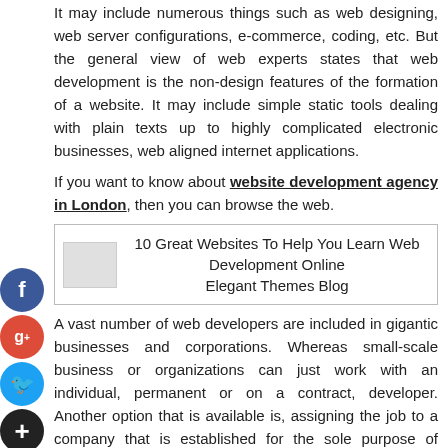It may include numerous things such as web designing, web server configurations, e-commerce, coding, etc. But the general view of web experts states that web development is the non-design features of the formation of a website. It may include simple static tools dealing with plain texts up to highly complicated electronic businesses, web aligned internet applications.
If you want to know about website development agency in London, then you can browse the web.
[Figure (other): Embedded link box: 10 Great Websites To Help You Learn Web Development Online - Elegant Themes Blog]
A vast number of web developers are included in gigantic businesses and corporations. Whereas small-scale business or organizations can just work with an individual, permanent or on a contract, developer. Another option that is available is, assigning the job to a company that is established for the sole purpose of developing of websites for others.
With time, web development got included amongst the most evolving industries globally that too in a short period of time.
The major driving force behind the rising of this industry are the big companies that want to enhance their businesses and promote their products and services not only to the existing clients but also to make